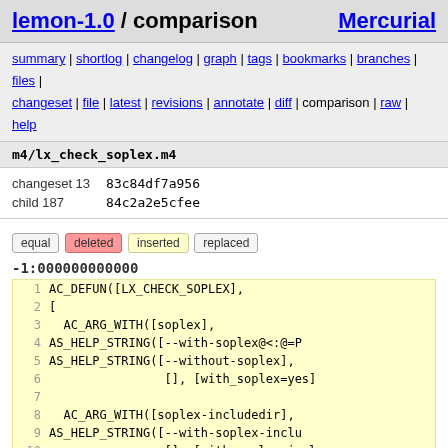lemon-1.0 / comparison   Mercurial
summary | shortlog | changelog | graph | tags | bookmarks | branches | files | changeset | file | latest | revisions | annotate | diff | comparison | raw | help
m4/lx_check_soplex.m4
| changeset 13 | 83c84df7a956 |
| child 187 | 84c2a2e5cfee |
equal  deleted  inserted  replaced
-1:000000000000
[Figure (screenshot): Code diff view with yellow background showing lines 1-11+ of AC_DEFUN([LX_CHECK_SOPLEX] m4 file content]